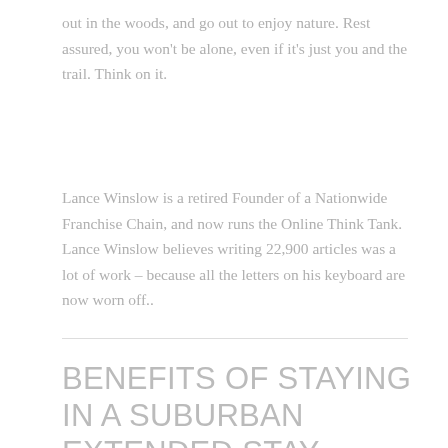out in the woods, and go out to enjoy nature. Rest assured, you won't be alone, even if it's just you and the trail. Think on it.
Lance Winslow is a retired Founder of a Nationwide Franchise Chain, and now runs the Online Think Tank. Lance Winslow believes writing 22,900 articles was a lot of work – because all the letters on his keyboard are now worn off..
BENEFITS OF STAYING IN A SUBURBAN EXTENDED STAY HOTEL